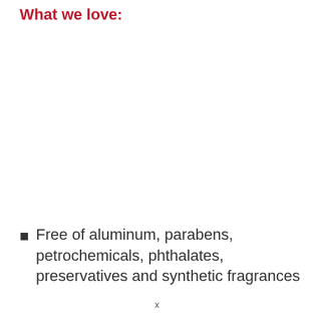What we love:
Free of aluminum, parabens, petrochemicals, phthalates, preservatives and synthetic fragrances
x